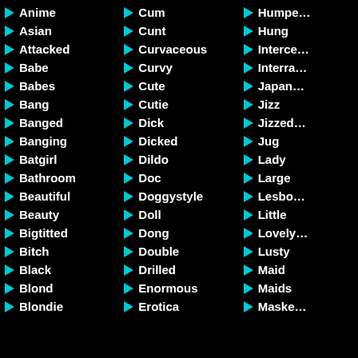Anime
Asian
Attacked
Babe
Babes
Bang
Banged
Banging
Batgirl
Bathroom
Beautiful
Beauty
Bigtitted
Bitch
Black
Blond
Blondie
Cum
Cunt
Curvaceous
Curvy
Cute
Cutie
Dick
Dicked
Dildo
Doc
Doggystyle
Doll
Dong
Double
Drilled
Enormous
Erotica
Humpe…
Hung
Interce…
Interra…
Japan…
Jizz
Jizzed…
Jug
Lady
Large
Lesbo…
Little
Lovely…
Lusty
Maid
Maids
Maske…